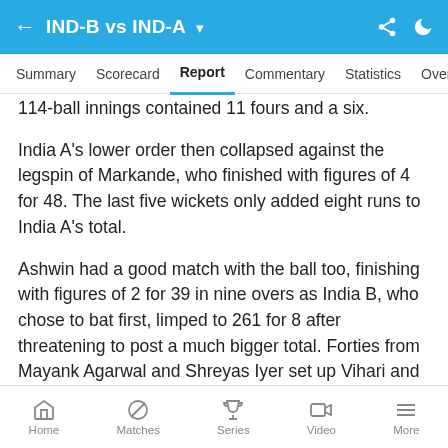IND-B vs IND-A
Summary  Scorecard  Report  Commentary  Statistics  Over
114-ball innings contained 11 fours and a six.
India A's lower order then collapsed against the legspin of Markande, who finished with figures of 4 for 48. The last five wickets only added eight runs to India A's total.
Ashwin had a good match with the ball too, finishing with figures of 2 for 39 in nine overs as India B, who chose to bat first, limped to 261 for 8 after threatening to post a much bigger total. Forties from Mayank Agarwal and Shreyas Iyer set up Vihari and Manoj Tiwary (52, 58b, 1x4, 2x6) to put on 99 for the fourth
Home  Matches  Series  Video  More